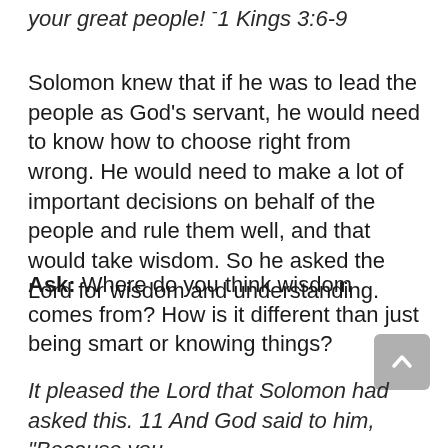your great people! -1 Kings 3:6-9
Solomon knew that if he was to lead the people as God’s servant, he would need to know how to choose right from wrong. He would need to make a lot of important decisions on behalf of the people and rule them well, and that would take wisdom. So he asked the Lord for wisdom and understanding.
Ask: Where do you think wisdom comes from? How is it different than just being smart or knowing things?
It pleased the Lord that Solomon had asked this. 11 And God said to him, “Because you